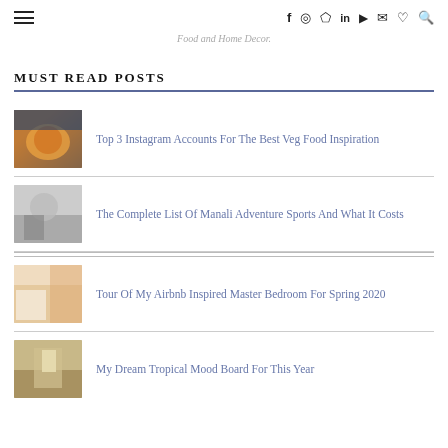☰  f  ⓘ  ⓟ  in  ▶  ✉  ♡  🔍
Food and Home Decor.
MUST READ POSTS
Top 3 Instagram Accounts For The Best Veg Food Inspiration
The Complete List Of Manali Adventure Sports And What It Costs
Tour Of My Airbnb Inspired Master Bedroom For Spring 2020
My Dream Tropical Mood Board For This Year